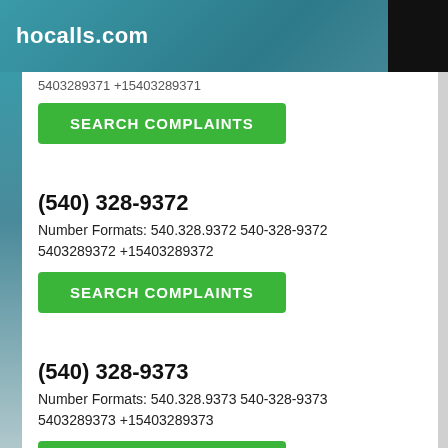hocalls.com
5403289371 +15403289371
SEARCH COMPLAINTS
(540) 328-9372
Number Formats: 540.328.9372 540-328-9372 5403289372 +15403289372
SEARCH COMPLAINTS
(540) 328-9373
Number Formats: 540.328.9373 540-328-9373 5403289373 +15403289373
SEARCH COMPLAINTS
(540) 328-9374
Number Formats: 540.328.9374 540-328-9374 5403289374 +15403289374